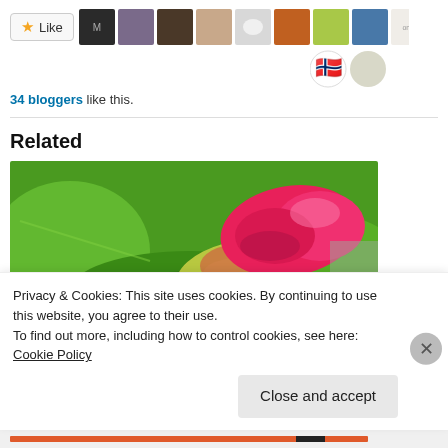[Figure (screenshot): Like button with star icon and a row of blogger avatar thumbnails]
34 bloggers like this.
Related
[Figure (photo): Close-up photograph of a pink flower bud against green leaves]
Privacy & Cookies: This site uses cookies. By continuing to use this website, you agree to their use.
To find out more, including how to control cookies, see here: Cookie Policy
Close and accept